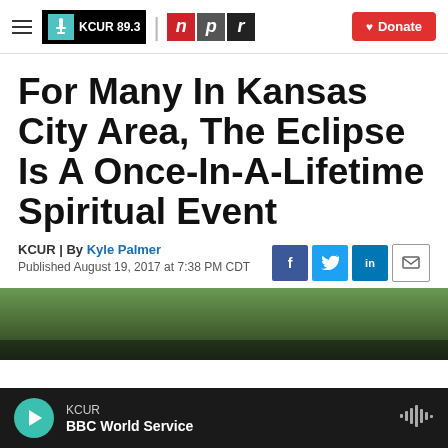KCUR 89.3 | npr | Donate
For Many In Kansas City Area, The Eclipse Is A Once-In-A-Lifetime Spiritual Event
KCUR | By Kyle Palmer
Published August 19, 2017 at 7:38 PM CDT
[Figure (photo): Outdoor photo showing trees and a street scene, partially visible at bottom of article]
KCUR
BBC World Service